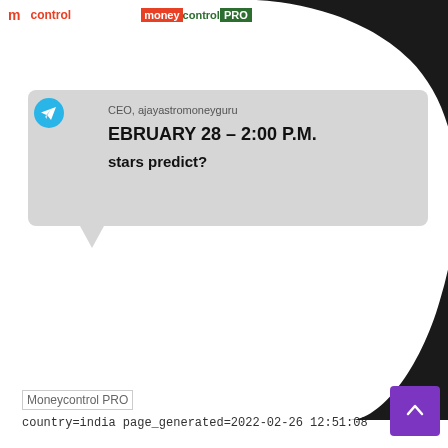moneycontrol | moneycontrol PRO
[Figure (illustration): Large curved black arc/swoosh shape overlaid across the upper-right portion of the page]
[Figure (logo): Telegram icon - blue circle with white paper plane]
CEO, ajayastromoneyguru
FEBRUARY 28 – 2:00 P.M.
stars predict?
[Figure (logo): Moneycontrol PRO logo placeholder image]
country=india page_generated=2022-02-26 12:51:08
[Figure (other): Purple scroll-to-top button with upward arrow in bottom right corner]